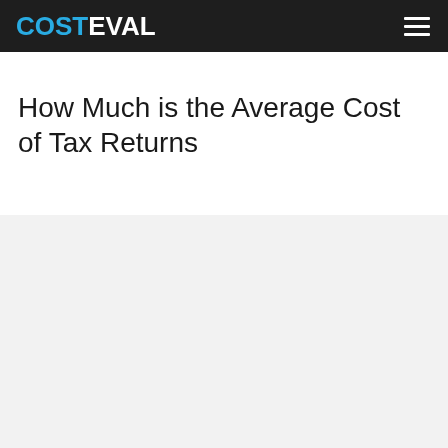COSTEVAL
How Much is the Average Cost of Tax Returns